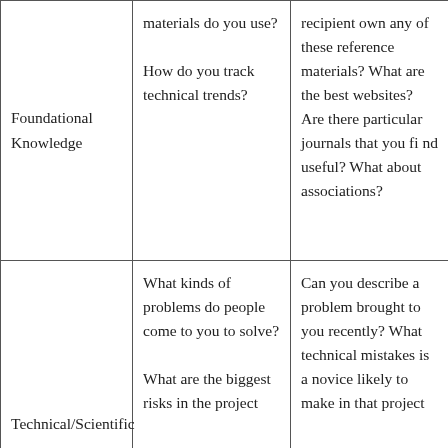| Foundational Knowledge | materials do you use?

How do you track technical trends? | recipient own any of these reference materials? What are the best websites? Are there particular journals that you find useful? What about associations? |
| Technical/Scientific | What kinds of problems do people come to you to solve?

What are the biggest risks in the project | Can you describe a problem brought to you recently? What technical mistakes is a novice likely to make in that project |